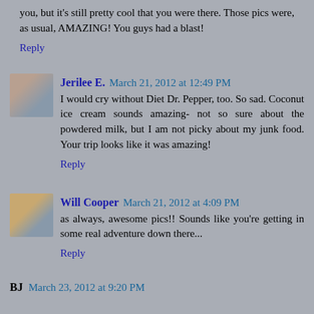you, but it's still pretty cool that you were there. Those pics were, as usual, AMAZING! You guys had a blast!
Reply
Jerilee E.  March 21, 2012 at 12:49 PM
I would cry without Diet Dr. Pepper, too. So sad. Coconut ice cream sounds amazing- not so sure about the powdered milk, but I am not picky about my junk food. Your trip looks like it was amazing!
Reply
Will Cooper  March 21, 2012 at 4:09 PM
as always, awesome pics!! Sounds like you're getting in some real adventure down there...
Reply
BJ  March 23, 2012 at 9:20 PM